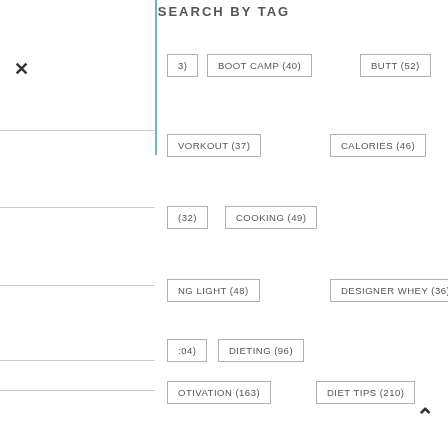SEARCH BY TAG
BOOT CAMP (40)
BUTT (52)
WORKOUT (37)
CALORIES (46)
COOKING (49)
NG LIGHT (48)
DESIGNER WHEY (36)
DIETING (96)
OTIVATION (163)
DIET TIPS (210)
RAGEMENT (132)
EXERCISE (131)
SES (97)
FITFLUENTIAL (66)
S (480)
FITNESS MANTRA (149)
S MOTIVATION (302)